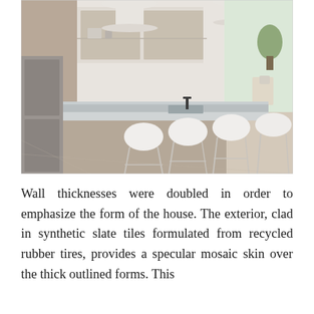[Figure (photo): Modern kitchen interior with a large concrete island countertop, white bar stools with metal legs, light wood cabinetry, white pendant lights, and an open plan living area visible in the background. Dark hardwood floors.]
Wall thicknesses were doubled in order to emphasize the form of the house. The exterior, clad in synthetic slate tiles formulated from recycled rubber tires, provides a specular mosaic skin over the thick outlined forms. This texture of a kind of abstraction has rendered